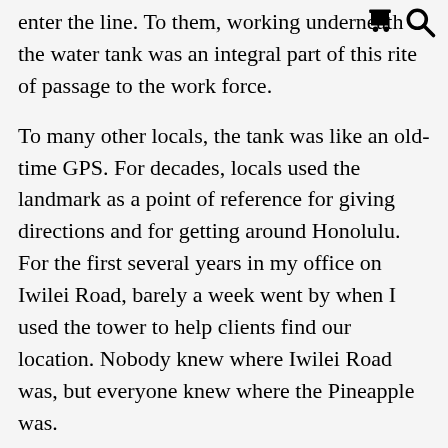enter the line. To them, working underneath the water tank was an integral part of this rite of passage to the work force.
To many other locals, the tank was like an old-time GPS. For decades, locals used the landmark as a point of reference for giving directions and for getting around Honolulu. For the first several years in my office on Iwilei Road, barely a week went by when I used the tower to help clients find our location. Nobody knew where Iwilei Road was, but everyone knew where the Pineapple was.
Unfortunately, shortly thereafter, things started to change. Since 1968, land in central Oahu, once used to cultivate pineapple land, was being used for the development of the bedroom community of Mililani. Pineapple production on Oahu began a steady decline. Finally, the Iwilei cannery ceased operations in 1992.